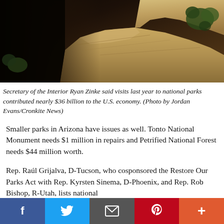[Figure (photo): Aerial/close-up view of Grand Canyon rocky landscape with dark shadowed canyon at left and light-colored rocky cliffs with sparse green vegetation at right]
Secretary of the Interior Ryan Zinke said visits last year to national parks contributed nearly $36 billion to the U.S. economy. (Photo by Jordan Evans/Cronkite News)
Smaller parks in Arizona have issues as well. Tonto National Monument needs $1 million in repairs and Petrified National Forest needs $44 million worth.
Rep. Raúl Grijalva, D-Tucson, who cosponsored the Restore Our Parks Act with Rep. Kyrsten Sinema, D-Phoenix, and Rep. Rob Bishop, R-Utah, lists national
f  🐦  ✉  p  +